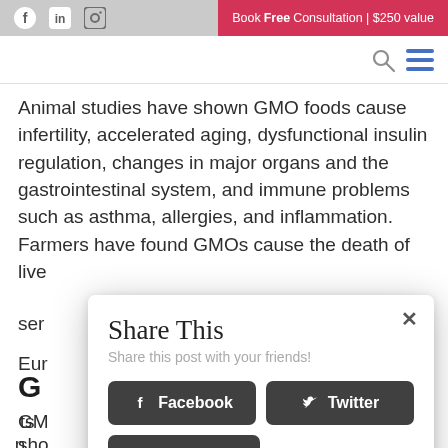Book Free Consultation | $250 value
Animal studies have shown GMO foods cause infertility, accelerated aging, dysfunctional insulin regulation, changes in major organs and the gastrointestinal system, and immune problems such as asthma, allergies, and inflammation. Farmers have found GMOs cause the death of live...
G
GM... ts sho... n. sm... d
[Figure (screenshot): Share This modal dialog with Facebook, Twitter, and Pinterest share buttons on a dark background. Header reads 'Share This' with subtitle 'Share this post with your friends!']